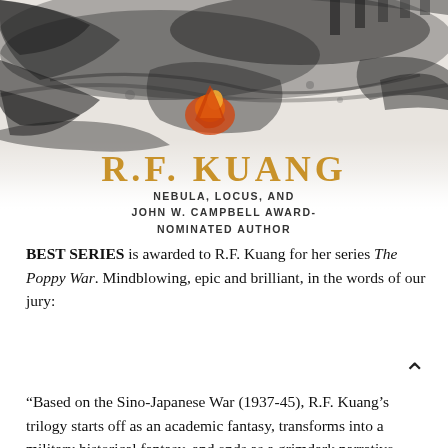[Figure (illustration): Ink wash style book cover art showing a dark dramatic scene with fire and smoke, serving as background for R.F. Kuang author name. The image is black, grey and features orange/red flames.]
R.F. KUANG
NEBULA, LOCUS, AND
JOHN W. CAMPBELL AWARD-
NOMINATED AUTHOR
BEST SERIES is awarded to R.F. Kuang for her series The Poppy War. Mindblowing, epic and brilliant, in the words of our jury:
“Based on the Sino-Japanese War (1937-45), R.F. Kuang’s trilogy starts off as an academic fantasy, transforms into a military historical fantasy, and ends as a grimdark narrative